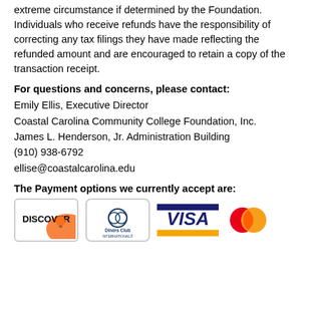extreme circumstance if determined by the Foundation. Individuals who receive refunds have the responsibility of correcting any tax filings they have made reflecting the refunded amount and are encouraged to retain a copy of the transaction receipt.
For questions and concerns, please contact:
Emily Ellis, Executive Director
Coastal Carolina Community College Foundation, Inc.
James L. Henderson, Jr. Administration Building
(910) 938-6792
ellise@coastalcarolina.edu
The Payment options we currently accept are:
[Figure (logo): Payment logos: Discover, Diners Club International, Visa, Mastercard]